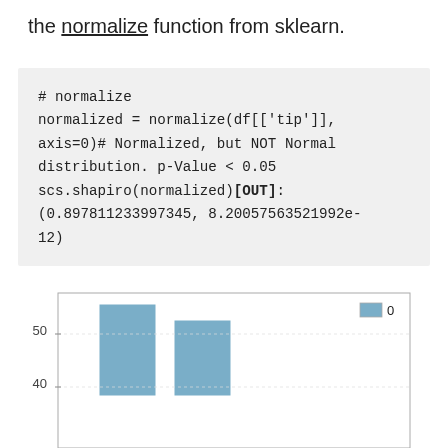the normalize function from sklearn.
# normalize
normalized = normalize(df[['tip']],
axis=0)# Normalized, but NOT Normal
distribution. p-Value < 0.05
scs.shapiro(normalized)[OUT]:
(0.897811233997345, 8.20057563521992e-
12)
[Figure (bar-chart): Partial bar chart visible at bottom of page, showing two bars with y-axis labels 40 and 50, and a legend entry labeled 0. Bars are steel blue color.]